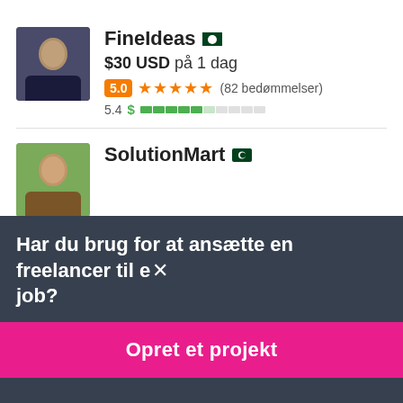[Figure (photo): Profile photo of FineIdeas freelancer – man in dark suit]
FineIdeas 🇵🇰
$30 USD på 1 dag
5.0 ★★★★★ (82 bedømmelser)
5.4 $ ████░░░░░
[Figure (photo): Profile photo of SolutionMart freelancer – man in brown suit]
SolutionMart 🇵🇰
Har du brug for at ansætte en freelancer til et job?
Opret et projekt